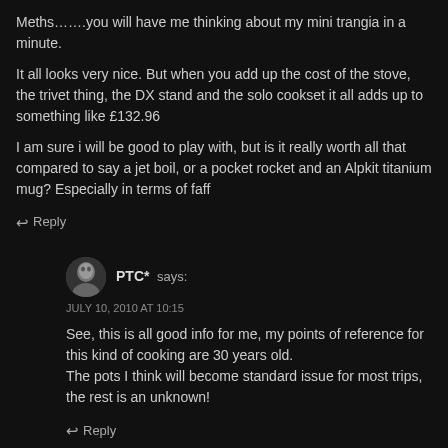Meths…….you will have me thinking about my mini trangia in a minute.
It all looks very nice. But when you add up the cost of the stove, the trivet thing, the DX stand and the solo cookset it all adds up to something like £132.96
I am sure i will be good to play with, but is it really worth all that compared to say a jet boil, or a pocket rocket and an Alpkit titanium mug? Especially in terms of faff
↩Reply
PTC* says:
JULY 10, 2010 AT 10:15
See, this is all good info for me, my points of reference for this kind of cooking are 30 years old.
The pots I think will become standard issue for most trips, the rest is an unknown!
↩Reply
PTC* says:
JULY 10, 2010 AT 10:22
Chris, as you know faff is always on my agenda. I've been happily